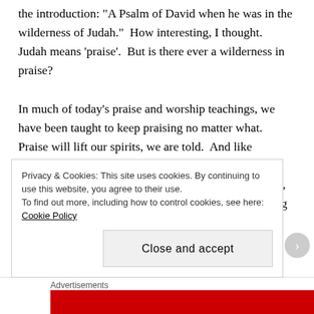the introduction: "A Psalm of David when he was in the wilderness of Judah."  How interesting, I thought.  Judah means 'praise'.  But is there ever a wilderness in praise?

In much of today's praise and worship teachings, we have been taught to keep praising no matter what.  Praise will lift our spirits, we are told.  And like Jesoshaphat, high praise can even secure a mighty victory for us.  So when you are feeling down and out, praise and worship is the answer.  Well, nothing wrong with these points.  But try telling that to King
Privacy & Cookies: This site uses cookies. By continuing to use this website, you agree to their use.
To find out more, including how to control cookies, see here: Cookie Policy
Close and accept
Advertisements